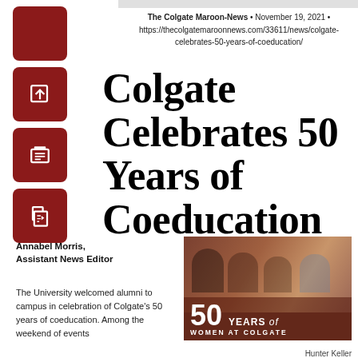The Colgate Maroon-News • November 19, 2021 • https://thecolgatemaroonnews.com/33611/news/colgate-celebrates-50-years-of-coeducation/
Colgate Celebrates 50 Years of Coeducation
Annabel Morris, Assistant News Editor
The University welcomed alumni to campus in celebration of Colgate's 50 years of coeducation. Among the weekend of events
[Figure (photo): Group of women seated, with '50 YEARS of WOMEN AT COLGATE' text overlay on a reddish-brown background]
Hunter Keller